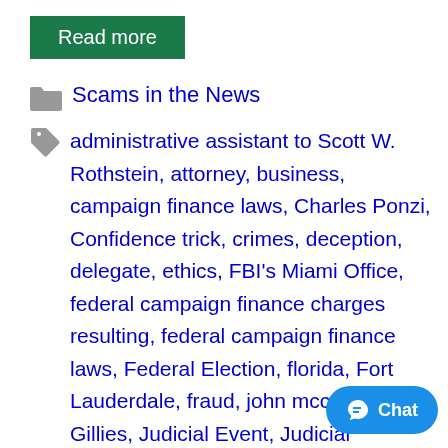Read more
Scams in the News
administrative assistant to Scott W. Rothstein, attorney, business, campaign finance laws, Charles Ponzi, Confidence trick, crimes, deception, delegate, ethics, FBI's Miami Office, federal campaign finance charges resulting, federal campaign finance laws, Federal Election, florida, Fort Lauderdale, fraud, john mccain, John Gillies, Judicial Event, Judicial Nominating